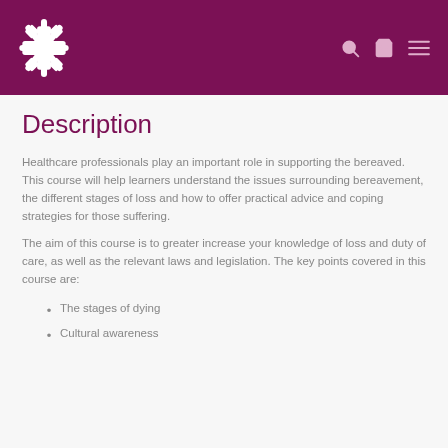[Logo and navigation header]
Description
Healthcare professionals play an important role in supporting the bereaved. This course will help learners understand the issues surrounding bereavement, the different stages of loss and how to offer practical advice and coping strategies for those suffering.
The aim of this course is to greater increase your knowledge of loss and duty of care, as well as the relevant laws and legislation. The key points covered in this course are:
The stages of dying
Cultural awareness